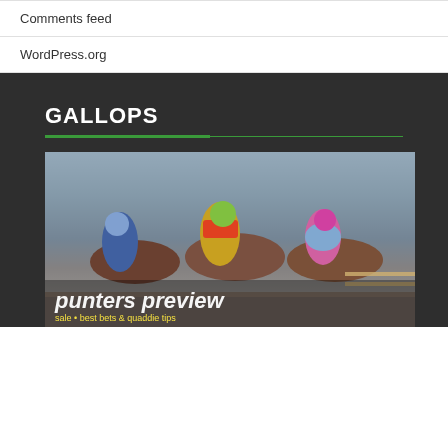Comments feed
WordPress.org
GALLOPS
[Figure (photo): Horse racing photo showing multiple jockeys racing, with overlay text 'punters preview' and subtitle 'sale • best bets & quaddie tips']